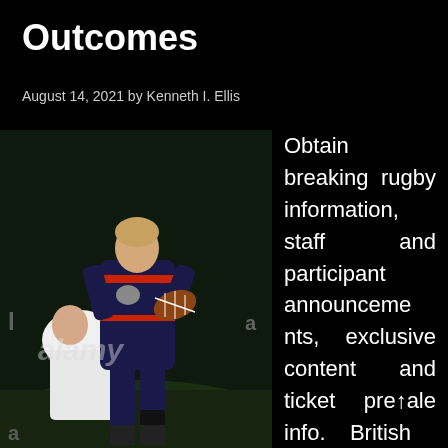Outcomes
August 14, 2021 by Kenneth I. Ellis
[Figure (photo): Rugby player in dark navy and red Canterbury jersey carrying ball while being tackled by opponent in white jersey, Alamy watermark visible, dark night-time stadium background]
Obtain breaking rugby information, staff and participant announcements, exclusive content and ticket presale info. British